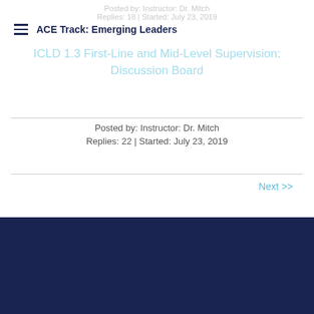Posted by: Instructor: Dr. Mitch
Replies: 18 | Started: July 23, 2019
ACE Track: Emerging Leaders
ICLD 1.3 First-Line and Mid-Level Supervision: Discussion Board
Posted by: Instructor: Dr. Mitch
Replies: 22 | Started: July 23, 2019
Next >>
Powered by PSLMS (Public Safety Learning Management System)
All Rights Reserved, International Academy of Public Safety 2021